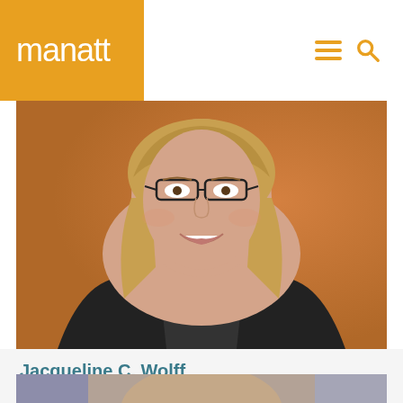manatt
[Figure (photo): Professional headshot of Jacqueline C. Wolff, a woman with blonde hair and glasses, wearing a black blazer, smiling, against a warm orange/brown background]
Jacqueline C. Wolff
Investigations, Compliance and White Collar Defense
[Figure (photo): Partial view of another person's headshot at the bottom of the page, cropped]